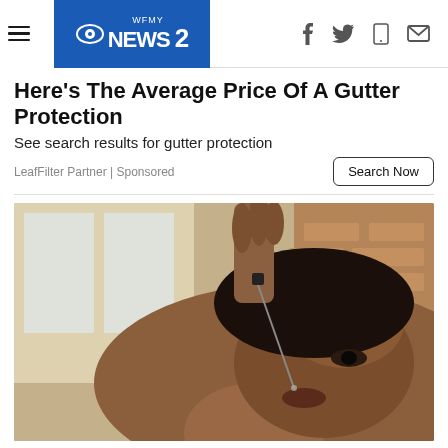WFMY NEWS2 — navigation bar with hamburger menu, CBS eye logo, and social icons (Facebook, Twitter, mobile, email)
Here's The Average Price Of A Gutter Protection
See search results for gutter protection
LeafFilter Partner | Sponsored
Search Now
[Figure (photo): Close-up photograph of a woman tilting her head back and using a dropper to apply drops into her mouth, with a blurred indoor background.]
Beware Of What You Put In Your...